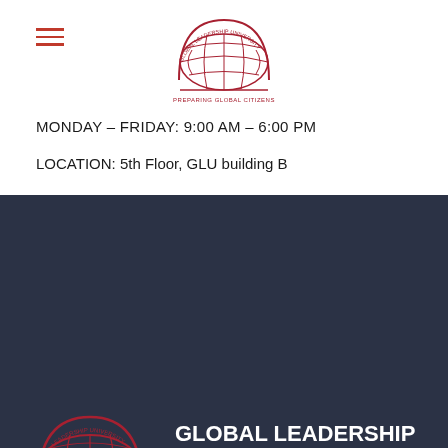[Figure (logo): Global Leadership University logo – red globe with arch and grid lines, text 'PREPARING GLOBAL CITIZENS' below]
MONDAY – FRIDAY: 9:00 AM – 6:00 PM
LOCATION: 5th Floor, GLU building B
[Figure (logo): Global Leadership University large red logo on dark background]
GLOBAL LEADERSHIP UNIVERSITY
Global Leadership University
Preparing global citizens
Contact us
Address: 5th floor, district 5th floor, Samruk, 51...